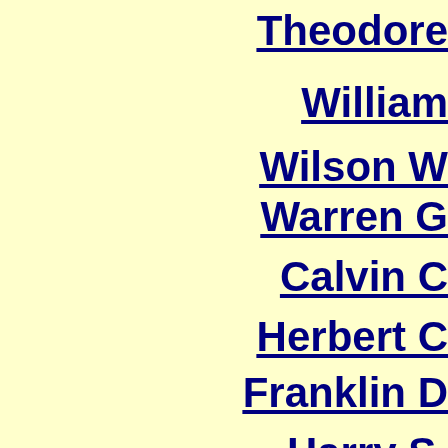Theodore
William
Wilson W
Warren G
Calvin C
Herbert C
Franklin D
Harry S.
Dwight D.
John F.